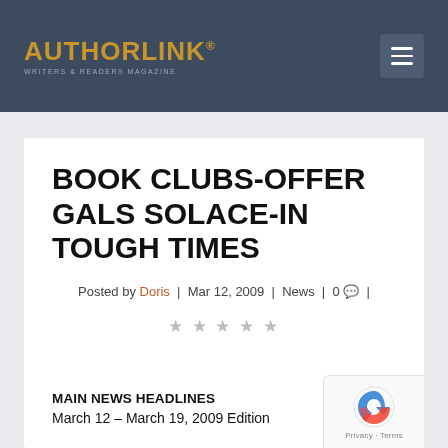AUTHORLINK® WRITERS & READERS MAGAZINE
BOOK CLUBS-OFFER GALS SOLACE-IN TOUGH TIMES
Posted by Doris | Mar 12, 2009 | News | 0 |
★ ★ ★ ★ ★
MAIN NEWS HEADLINES
March 12 – March 19, 2009 Edition